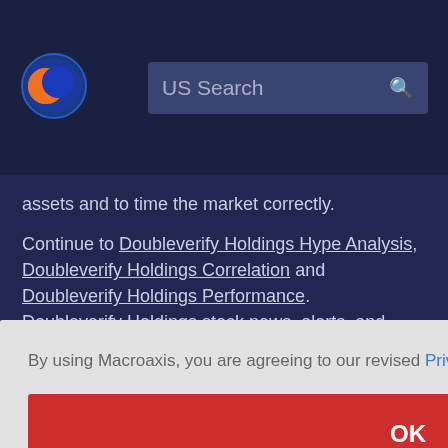[Figure (logo): Macroaxis globe logo — orange and blue circular icon]
US Search
assets and to time the market correctly.
Continue to Doubleverify Holdings Hype Analysis, Doubleverify Holdings Correlation and Doubleverify Holdings Performance.
Doubleverify Holdings stock news, alerts, and headlines are usually related to their technical, predictive, social, current or ects
By using Macroaxis, you are agreeing to our revised Privacy Policy
OK